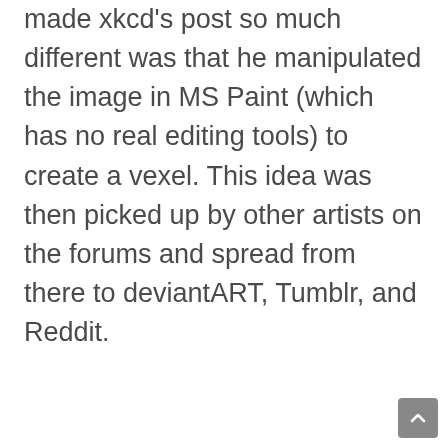made xkcd's post so much different was that he manipulated the image in MS Paint (which has no real editing tools) to create a vexel. This idea was then picked up by other artists on the forums and spread from there to deviantART, Tumblr, and Reddit.